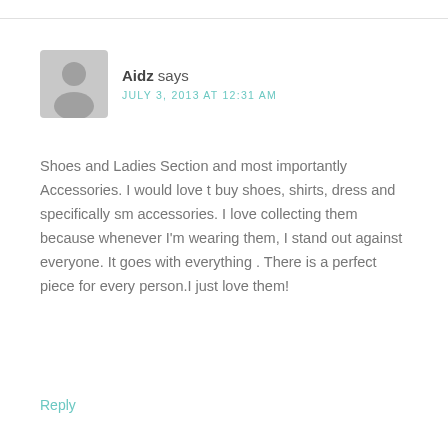Aidz says
JULY 3, 2013 AT 12:31 AM
Shoes and Ladies Section and most importantly Accessories. I would love t buy shoes, shirts, dress and specifically sm accessories. I love collecting them because whenever I'm wearing them, I stand out against everyone. It goes with everything . There is a perfect piece for every person.I just love them!
Reply